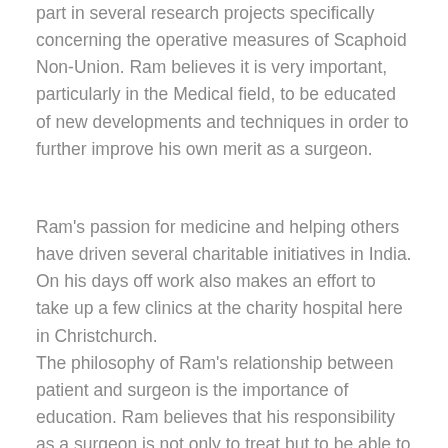part in several research projects specifically concerning the operative measures of Scaphoid Non-Union. Ram believes it is very important, particularly in the Medical field, to be educated of new developments and techniques in order to further improve his own merit as a surgeon.
Ram's passion for medicine and helping others have driven several charitable initiatives in India. On his days off work also makes an effort to take up a few clinics at the charity hospital here in Christchurch.
The philosophy of Ram's relationship between patient and surgeon is the importance of education. Ram believes that his responsibility as a surgeon is not only to treat but to be able to inform; to be able to form a direct and clear line of communication so